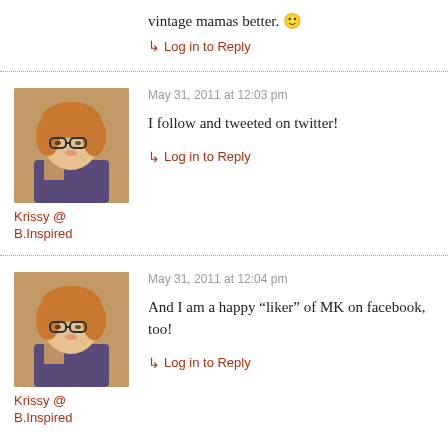vintage mamas better. 🙂
↳ Log in to Reply
[Figure (photo): Profile photo of a young girl with curly hair and glasses]
May 31, 2011 at 12:03 pm
I follow and tweeted on twitter!
Krissy @ B.Inspired
↳ Log in to Reply
[Figure (photo): Profile photo of a young girl with curly hair and glasses]
May 31, 2011 at 12:04 pm
And I am a happy “liker” of MK on facebook, too!
Krissy @ B.Inspired
↳ Log in to Reply